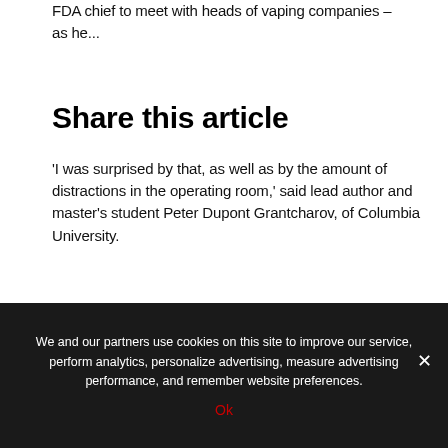FDA chief to meet with heads of vaping companies – as he...
Share this article
'I was surprised by that, as well as by the amount of distractions in the operating room,' said lead author and master's student Peter Dupont Grantcharov, of Columbia University.
'Many machines have alarms that go off periodically, equipment malfunctions, side conversations take place, people walk in and out of the OR – I could go on.
'My hope is that other researchers will build upon our
We and our partners use cookies on this site to improve our service, perform analytics, personalize advertising, measure advertising performance, and remember website preferences.
Ok